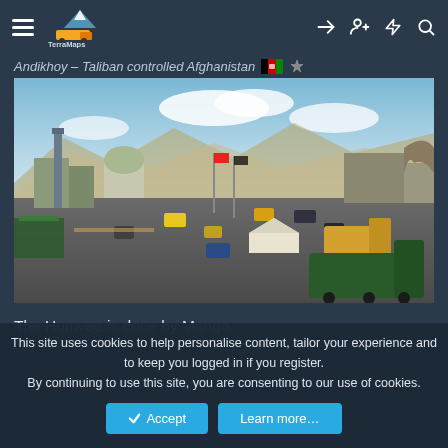TerraMaps — navigation header with hamburger menu, logo, and icons
Andikhoy – Taliban controlled Afghanistan
[Figure (screenshot): 3D game screenshot of a city square in Afghanistan with vehicles, a mosque dome, mountains, and a large green truck in the foreground.]
The Humvee is done by Mango.
This site uses cookies to help personalise content, tailor your experience and to keep you logged in if you register. By continuing to use this site, you are consenting to our use of cookies.